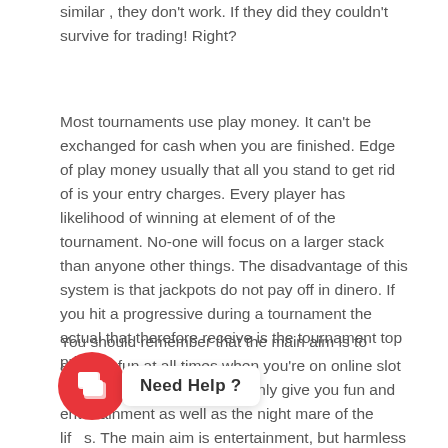similar , they don't work. If they did they couldn't survive for trading! Right?
Most tournaments use play money. It can't be exchanged for cash when you are finished. Edge of play money usually that all you stand to get rid of is your entry charges. Every player has likelihood of winning at element of of the tournament. No-one will focus on a larger stack than anyone other things. The disadvantage of this system is that jackpots do not pay off in dinero. If you hit a progressive during a tournament the actual that therefore receive is the tournament top prize.
You should remember that the main aim is to achieve fun at all times when you're on online slot gaming. Recreation should only give you fun and entertainment as well as the night mare of the lif s. The main aim is entertainment, but harmless follow t le ork in the event that you work them on yourself whilst in mind that preserving the earth . for